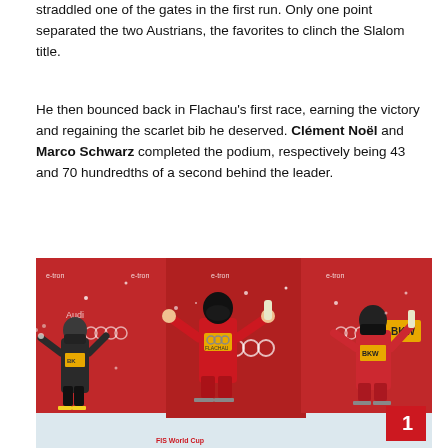straddled one of the gates in the first run. Only one point separated the two Austrians, the favorites to clinch the Slalom title.
He then bounced back in Flachau's first race, earning the victory and regaining the scarlet bib he deserved. Clément Noël and Marco Schwarz completed the podium, respectively being 43 and 70 hundredths of a second behind the leader.
[Figure (photo): Three skiers on a podium at a World Cup slalom event, celebrating in snowy conditions. The central skier wears an Austrian red suit and raises his hands. Background shows Audi and BKW sponsor logos on a red backdrop.]